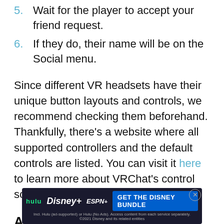5. Wait for the player to accept your friend request.
6. If they do, their name will be on the Social menu.
Since different VR headsets have their unique button layouts and controls, we recommend checking them beforehand. Thankfully, there’s a website where all supported controllers and the default controls are listed. You can visit it here to learn more about VRChat’s control schemes.
Adding Friends With a Mouse and Keyboard
[Figure (other): Advertisement banner for Disney Bundle featuring Hulu, Disney+, ESPN+ logos and a GET THE DISNEY BUNDLE button with small print text.]